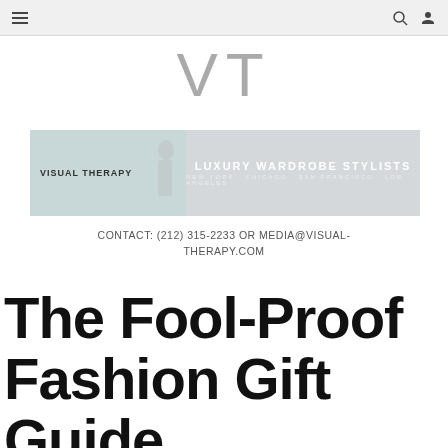Navigation bar with hamburger menu, search, and user icons
VT
[Figure (logo): Visual Therapy banner — left side teal/grey with text 'VISUAL THERAPY', right side grey with text 'LUXURY WARDROBE STYLISTS' and subtitle 'NEW YORK · CHICAGO · SAN FRANCISCO · LOS ANGELES']
CONTACT: (212) 315-2233 OR MEDIA@VISUAL-THERAPY.COM
The Fool-Proof Fashion Gift Guide 2017